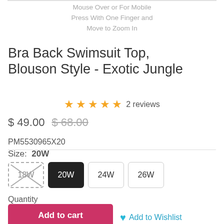Mouse Over or For Mobile Press With One Finger and Move to Zoom In
Bra Back Swimsuit Top, Blouson Style - Exotic Jungle
★★★★★ 2 reviews
$ 49.00 $ 68.00
PM5530965X20
Size: 20W
18W  20W  24W  26W
Quantity
1
Add to cart
Add to Wishlist